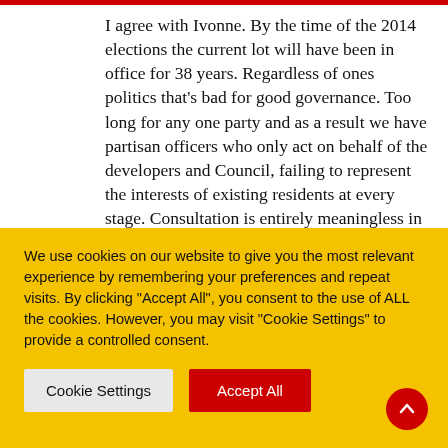I agree with Ivonne. By the time of the 2014 elections the current lot will have been in office for 38 years. Regardless of ones politics that's bad for good governance. Too long for any one party and as a result we have partisan officers who only act on behalf of the developers and Council, failing to represent the interests of existing residents at every stage. Consultation is entirely meaningless in the hands of this Council. Any expression of concern for residents is lip service only. The
We use cookies on our website to give you the most relevant experience by remembering your preferences and repeat visits. By clicking "Accept All", you consent to the use of ALL the cookies. However, you may visit "Cookie Settings" to provide a controlled consent.